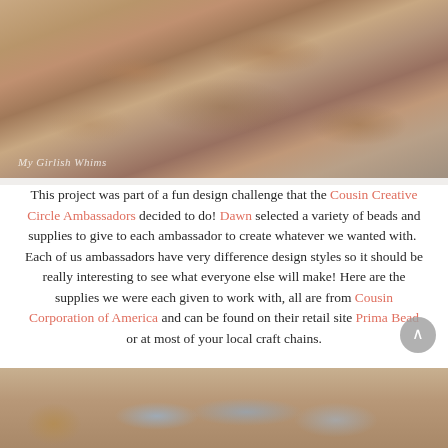[Figure (photo): Close-up photo of a copper chain mesh bracelet with dangling crystal beads on a light gray background. Watermark text reads 'My Girlish Whims' in the lower left corner.]
This project was part of a fun design challenge that the Cousin Creative Circle Ambassadors decided to do! Dawn selected a variety of beads and supplies to give to each ambassador to create whatever we wanted with. Each of us ambassadors have very difference design styles so it should be really interesting to see what everyone else will make! Here are the supplies we were each given to work with, all are from Cousin Corporation of America and can be found on their retail site Prima Bead or at most of your local craft chains.
[Figure (photo): Photo of craft supplies on a wooden surface including what appears to be jump rings and packaging cards.]